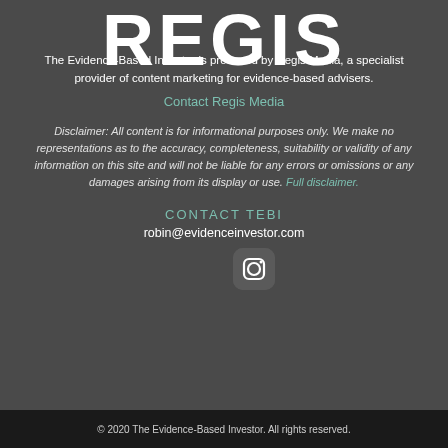REGIS
The Evidence-Based Investor is produced by Regis Media, a specialist provider of content marketing for evidence-based advisers.
Contact Regis Media
Disclaimer: All content is for informational purposes only. We make no representations as to the accuracy, completeness, suitability or validity of any information on this site and will not be liable for any errors or omissions or any damages arising from its display or use. Full disclaimer.
CONTACT TEBI
robin@evidenceinvestor.com
[Figure (logo): Instagram icon button]
© 2020 The Evidence-Based Investor. All rights reserved.